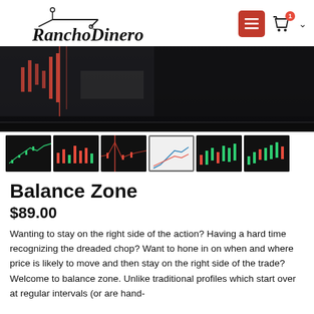[Figure (logo): RanchoDinero logo with stylized rooftop/hat graphic above text]
[Figure (screenshot): Main trading chart screenshot showing candlestick/price action chart with red indicator lines on dark background]
[Figure (screenshot): Thumbnail 1: trading chart with green candlesticks on dark background]
[Figure (screenshot): Thumbnail 2: trading chart with red/green candlesticks on dark background]
[Figure (screenshot): Thumbnail 3: trading chart with red indicator on dark background]
[Figure (screenshot): Thumbnail 4: trading chart with line drawing on white/light background (active/selected)]
[Figure (screenshot): Thumbnail 5: trading chart with green candlesticks on dark background]
[Figure (screenshot): Thumbnail 6: trading chart with green/red candlesticks on dark background]
Balance Zone
$89.00
Wanting to stay on the right side of the action? Having a hard time recognizing the dreaded chop? Want to hone in on when and where price is likely to move and then stay on the right side of the trade? Welcome to balance zone. Unlike traditional profiles which start over at regular intervals (or are hand-